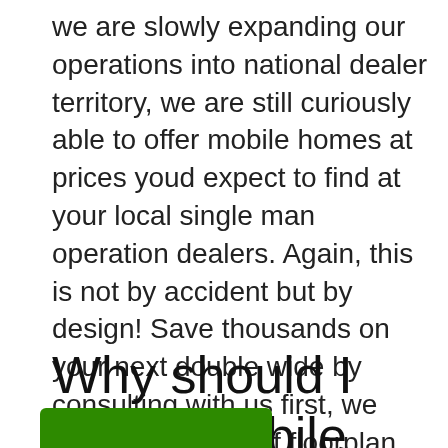we are slowly expanding our operations into national dealer territory, we are still curiously able to offer mobile homes at prices youd expect to find at your local single man operation dealers. Again, this is not by accident but by design! Save thousands on your next double wide by consulting with us first, we have thousands of floorplan designs ready to be built and will give you the best advice we can, where to build, what options are the best bang-for-your-buck, and more. Mobile homes are not just our thing, theyre what we base our entire ethos off of!
Why should I buy a mobile home Nation?
[Figure (other): Green phone call button with a white phone handset icon and 'Us' label text below it]